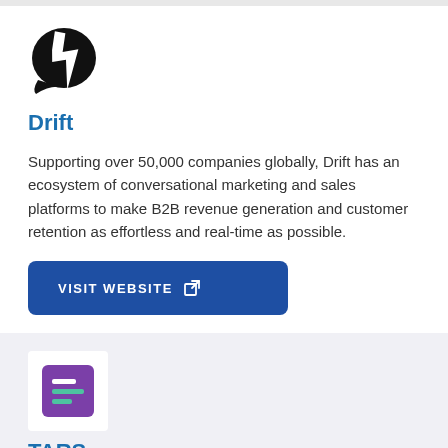[Figure (logo): Drift logo: black speech bubble with white lightning bolt]
Drift
Supporting over 50,000 companies globally, Drift has an ecosystem of conversational marketing and sales platforms to make B2B revenue generation and customer retention as effortless and real-time as possible.
[Figure (other): Blue 'VISIT WEBSITE' button with external link icon]
[Figure (logo): TARS logo: purple square icon with horizontal lines representing text/menu]
TARS